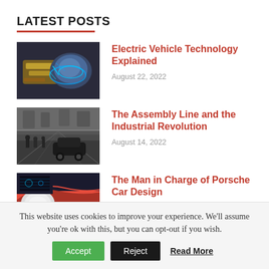LATEST POSTS
[Figure (photo): Electric vehicle engine/motor with blue glowing energy effects]
Electric Vehicle Technology Explained
August 22, 2022
[Figure (photo): Black and white historical photo of an assembly line with workers and early automobiles]
The Assembly Line and the Industrial Revolution
August 14, 2022
[Figure (photo): Colorful photo of a red Porsche car design detail]
The Man in Charge of Porsche Car Design
This website uses cookies to improve your experience. We'll assume you're ok with this, but you can opt-out if you wish.